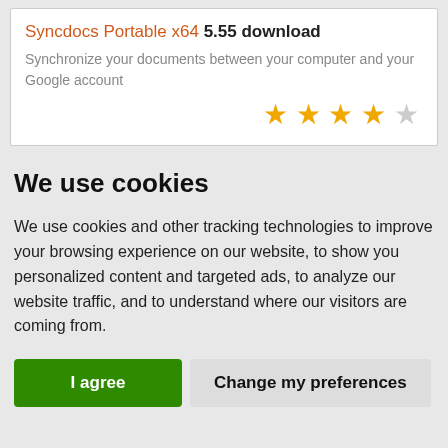Syncdocs Portable x64 5.55 download
Synchronize your documents between your computer and your Google account
[Figure (other): 4-star rating out of 5 shown as gold stars (4 filled, 1 empty)]
We use cookies
We use cookies and other tracking technologies to improve your browsing experience on our website, to show you personalized content and targeted ads, to analyze our website traffic, and to understand where our visitors are coming from.
I agree | Change my preferences